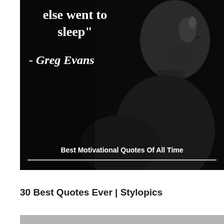[Figure (photo): Black and white photo of a man in profile/side view against dark background, with motivational quote text overlaid. Quote reads: 'else went to sleep' - Greg Evans. Bottom label: 'Best Motivational Quotes Of All Time']
30 Best Quotes Ever | Stylopics